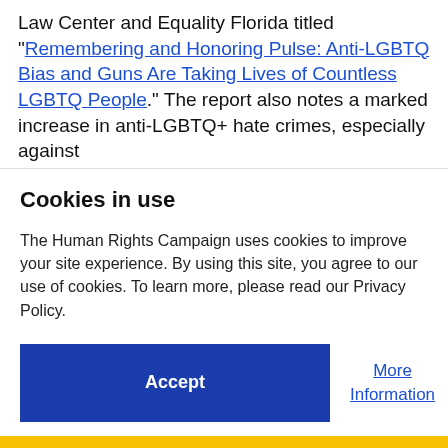Law Center and Equality Florida titled “Remembering and Honoring Pulse: Anti-LGBTQ Bias and Guns Are Taking Lives of Countless LGBTQ People.” The report also notes a marked increase in anti-LGBTQ+ hate crimes, especially against
Cookies in use
The Human Rights Campaign uses cookies to improve your site experience. By using this site, you agree to our use of cookies. To learn more, please read our Privacy Policy.
Accept
More Information